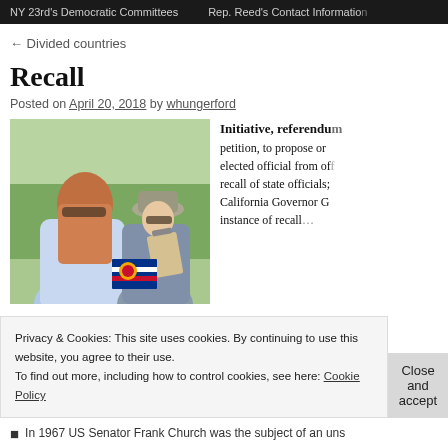NY 23rd's Democratic Committees    Rep. Reed's Contact Information
← Divided countries
Recall
Posted on April 20, 2018 by whungerford
[Figure (photo): Two women outdoors, one signing a petition/clipboard, with a Colorado flag visible in the background]
Initiative, referendum… petition, to propose or… elected official from of… recall of state officials;… California Governor G… instance of recall…
Privacy & Cookies: This site uses cookies. By continuing to use this website, you agree to their use.
To find out more, including how to control cookies, see here: Cookie Policy
Close and accept
In 1967 US Senator Frank Church was the subject of an uns…